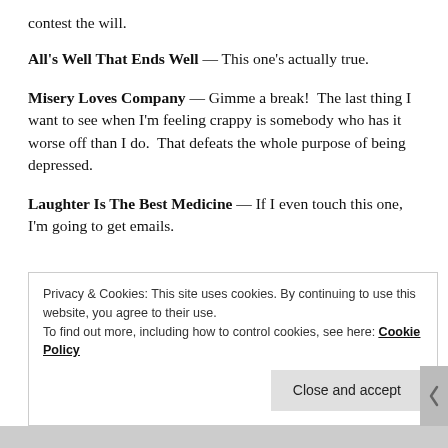contest the will.
All's Well That Ends Well — This one's actually true.
Misery Loves Company — Gimme a break!  The last thing I want to see when I'm feeling crappy is somebody who has it worse off than I do.  That defeats the whole purpose of being depressed.
Laughter Is The Best Medicine — If I even touch this one, I'm going to get emails.
Privacy & Cookies: This site uses cookies. By continuing to use this website, you agree to their use.
To find out more, including how to control cookies, see here: Cookie Policy